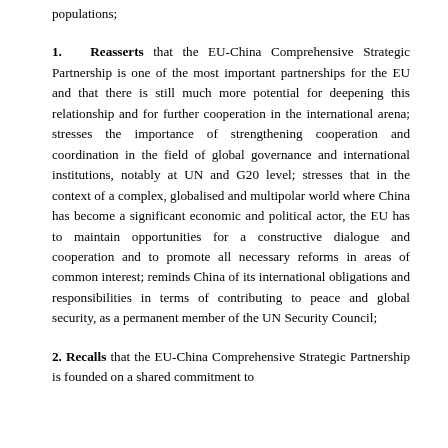populations;
1. Reasserts that the EU-China Comprehensive Strategic Partnership is one of the most important partnerships for the EU and that there is still much more potential for deepening this relationship and for further cooperation in the international arena; stresses the importance of strengthening cooperation and coordination in the field of global governance and international institutions, notably at UN and G20 level; stresses that in the context of a complex, globalised and multipolar world where China has become a significant economic and political actor, the EU has to maintain opportunities for a constructive dialogue and cooperation and to promote all necessary reforms in areas of common interest; reminds China of its international obligations and responsibilities in terms of contributing to peace and global security, as a permanent member of the UN Security Council;
2. Recalls that the EU-China Comprehensive Strategic Partnership is founded on a shared commitment to